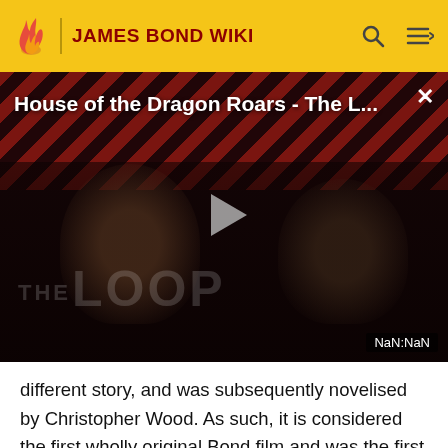JAMES BOND WIKI
[Figure (screenshot): Video thumbnail for 'House of the Dragon Roars - The L...' with a play button in the center, diagonal red/black stripe pattern at top, two people visible in the lower half, THE LOOP text watermark, and NaN:NaN duration display.]
different story, and was subsequently novelised by Christopher Wood. As such, it is considered the first wholly original Bond film and was the first Bond film to be novelised, instead of vice versa.
Theme